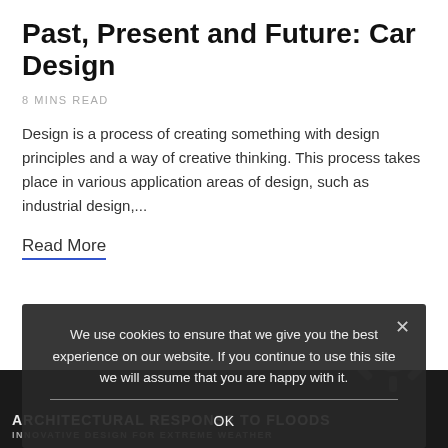Past, Present and Future: Car Design
8 MINS READ
Design is a process of creating something with design principles and a way of creative thinking. This process takes place in various application areas of design, such as industrial design,...
Read More
We use cookies to ensure that we give you the best experience on our website. If you continue to use this site we will assume that you are happy with it.
OK
ARCHITECTURAL RESPONSE TO FLOODS
INNOVATIVE DESIGN FOR EXTREME WEATHER